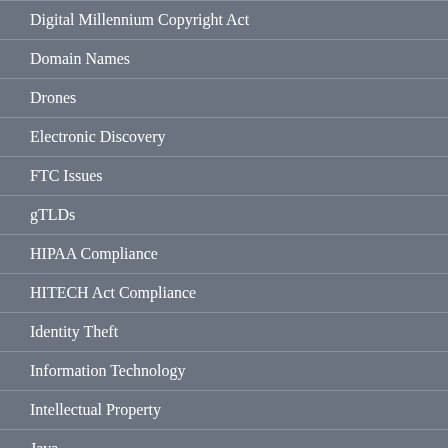Digital Millennium Copyright Act
Domain Names
Drones
Electronic Discovery
FTC Issues
gTLDs
HIPAA Compliance
HITECH Act Compliance
Identity Theft
Information Technology
Intellectual Property
Java
Nanotechnology
Other Articles
Patents
Patents & Trademarks